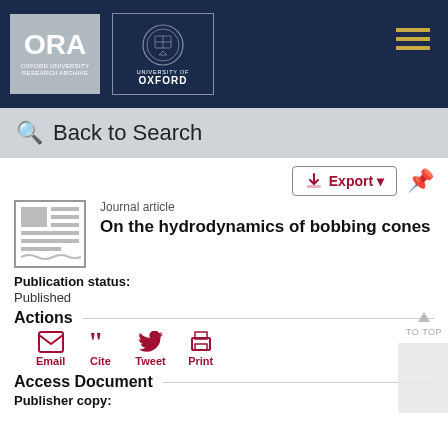ORA Oxford University Research Archive / University of Oxford
Back to Search
Export
Journal article
On the hydrodynamics of bobbing cones
Publication status:
Published
Actions
Email  Cite  Tweet  Print
Access Document
Publisher copy: